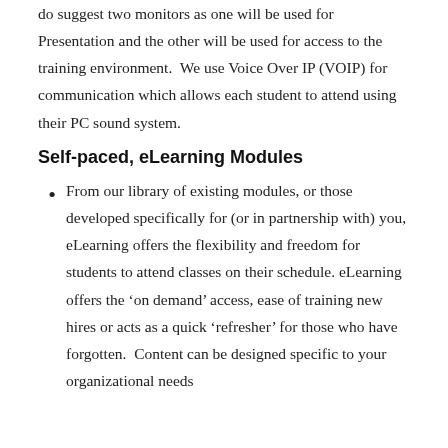do suggest two monitors as one will be used for Presentation and the other will be used for access to the training environment.  We use Voice Over IP (VOIP) for communication which allows each student to attend using their PC sound system.
Self-paced, eLearning Modules
From our library of existing modules, or those developed specifically for (or in partnership with) you, eLearning offers the flexibility and freedom for students to attend classes on their schedule. eLearning offers the ‘on demand’ access, ease of training new hires or acts as a quick ‘refresher’ for those who have forgotten.  Content can be designed specific to your organizational needs